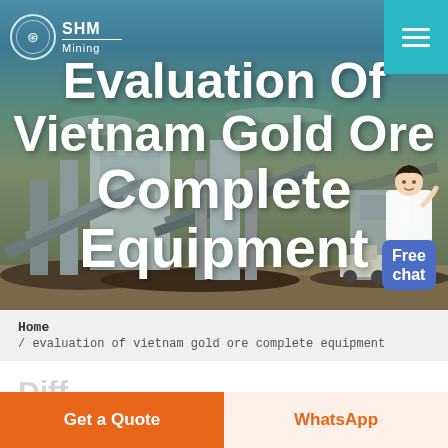[Figure (screenshot): Mining facility hero banner with conveyor belt equipment and crushing plant against a blue sky background]
Evaluation Of Vietnam Gold Ore Complete Equipment
Home / evaluation of vietnam gold ore complete equipment
Diff...
Get a Quote
WhatsApp